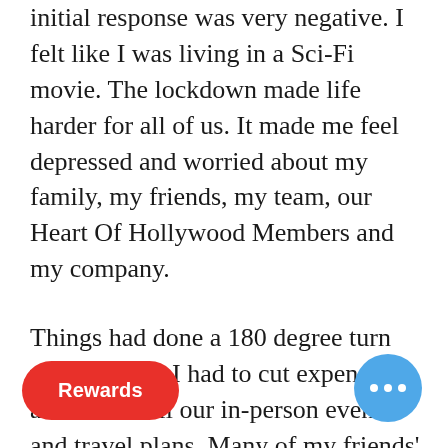initial response was very negative. I felt like I was living in a Sci-Fi movie. The lockdown made life harder for all of us. It made me feel depressed and worried about my family, my friends, my team, our Heart Of Hollywood Members and my company.
Things had done a 180 degree turn very quickly. I had to cut expenses and cancel all our in-person events and travel plans. Many of my friends' businesses were affected by the economic impact of this pandemic, and some of them may never get their businesses back on track.
For a moment I thought maybe it was time to close Heart Of Hollywood and do [something] different. I saw bills piling and I knew income was not being